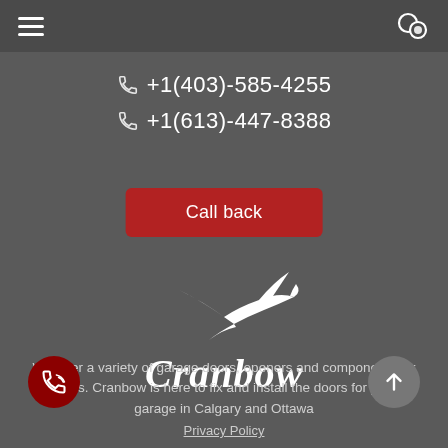Navigation bar with hamburger menu and chat icon
+1(403)-585-4255
+1(613)-447-8388
Call back
[Figure (logo): Cranbow logo — white flying bird/crane above italic white text 'Cranbow']
We offer a variety of garage doors, openers and components for doors. Cranbow is here to fix and install the doors for your garage in Calgary and Ottawa
Privacy Policy